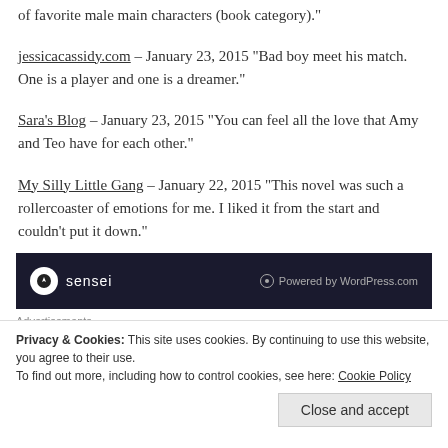of favorite male main characters (book category)."
jessicacassidy.com – January 23, 2015 "Bad boy meet his match. One is a player and one is a dreamer."
Sara's Blog – January 23, 2015 "You can feel all the love that Amy and Teo have for each other."
My Silly Little Gang – January 22, 2015 "This novel was such a rollercoaster of emotions for me. I liked it from the start and couldn't put it down."
[Figure (screenshot): Dark banner with sensei logo and 'Powered by WordPress.com' text]
Advertisements
Privacy & Cookies: This site uses cookies. By continuing to use this website, you agree to their use. To find out more, including how to control cookies, see here: Cookie Policy